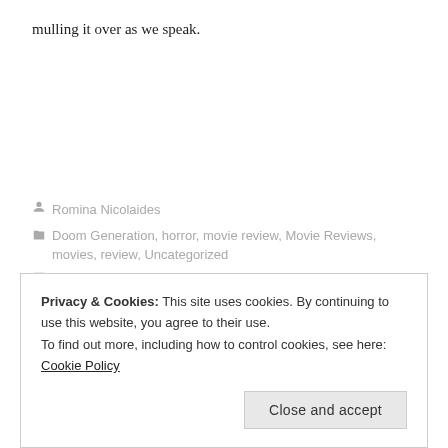mulling it over as we speak.
Romina Nicolaides
Doom Generation, horror, movie review, Movie Reviews, movies, review, Uncategorized
1 Comment   May 1, 2016   1 Minute
Privacy & Cookies: This site uses cookies. By continuing to use this website, you agree to their use.
To find out more, including how to control cookies, see here: Cookie Policy
Close and accept